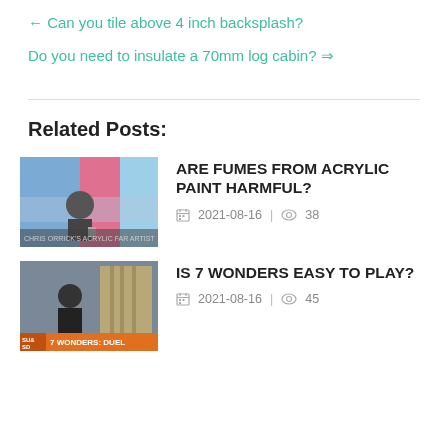← Can you tile above 4 inch backsplash?
Do you need to insulate a 70mm log cabin? ⇒
Related Posts:
ARE FUMES FROM ACRYLIC PAINT HARMFUL?
2021-08-16 | 38
IS 7 WONDERS EASY TO PLAY?
2021-08-16 | 45